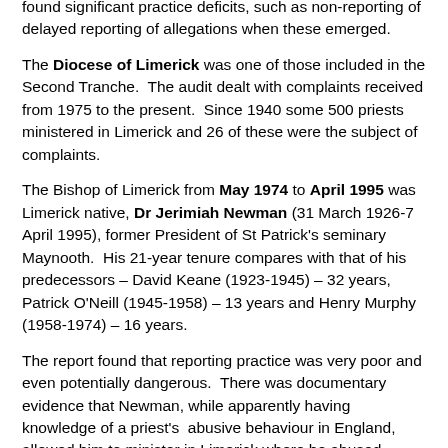found significant practice deficits, such as non-reporting of delayed reporting of allegations when these emerged.
The Diocese of Limerick was one of those included in the Second Tranche. The audit dealt with complaints received from 1975 to the present. Since 1940 some 500 priests ministered in Limerick and 26 of these were the subject of complaints.
The Bishop of Limerick from May 1974 to April 1995 was Limerick native, Dr Jerimiah Newman (31 March 1926-7 April 1995), former President of St Patrick's seminary Maynooth. His 21-year tenure compares with that of his predecessors – David Keane (1923-1945) – 32 years, Patrick O'Neill (1945-1958) – 13 years and Henry Murphy (1958-1974) – 16 years.
The report found that reporting practice was very poor and even potentially dangerous. There was documentary evidence that Newman, while apparently having knowledge of a priest's abusive behaviour in England, allowed him to minister in Limerick where he abused again.